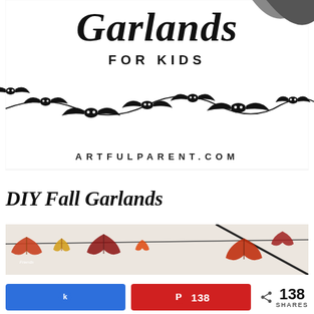[Figure (photo): Promotional image for DIY Fall Garlands for Kids on ArtfulParent.com, showing script text 'Garlands' in black brush font, 'FOR KIDS' in bold sans-serif, a bat garland decoration, and the website ARTFULPARENT.COM at the bottom, all on white background]
DIY Fall Garlands
[Figure (photo): Partial photo of colorful fall leaf garlands hanging on a string, showing orange, red and yellow maple leaves with handwritten text on them]
k  138  < 138 SHARES